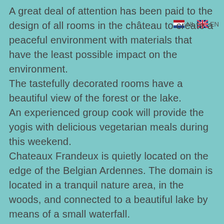A great deal of attention has been paid to the design of all rooms in the château to create a peaceful environment with materials that have the least possible impact on the environment. The tastefully decorated rooms have a beautiful view of the forest or the lake. An experienced group cook will provide the yogis with delicious vegetarian meals during this weekend. Chateaux Frandeux is quietly located on the edge of the Belgian Ardennes. The domain is located in a tranquil nature area, in the woods, and connected to a beautiful lake by means of a small waterfall. Adjacent to the lake is 25 hectares of private forest with a beautiful stream valley where you can walk undisturbed and enjoy what the seasons have to offer. There is a